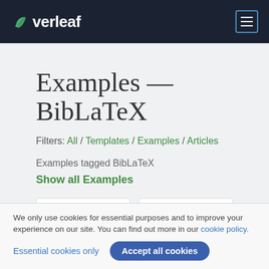Overleaf
Examples — BibLaTeX
Filters: All / Templates / Examples / Articles
Examples tagged BibLaTeX
Show all Examples
[Figure (screenshot): Two white card thumbnails partially visible at the bottom of the page]
We only use cookies for essential purposes and to improve your experience on our site. You can find out more in our cookie policy.
Essential cookies only   Accept all cookies